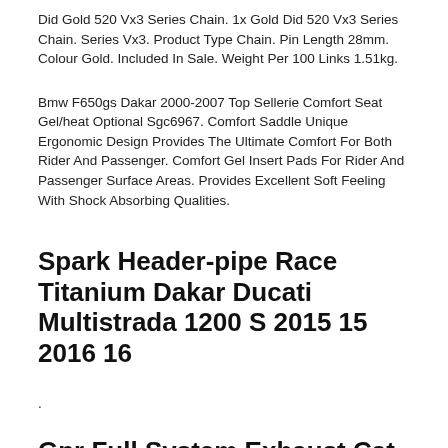Did Gold 520 Vx3 Series Chain. 1x Gold Did 520 Vx3 Series Chain. Series Vx3. Product Type Chain. Pin Length 28mm. Colour Gold. Included In Sale. Weight Per 100 Links 1.51kg.
Bmw F650gs Dakar 2000-2007 Top Sellerie Comfort Seat Gel/heat Optional Sgc6967. Comfort Saddle Unique Ergonomic Design Provides The Ultimate Comfort For Both Rider And Passenger. Comfort Gel Insert Pads For Rider And Passenger Surface Areas. Provides Excellent Soft Feeling With Shock Absorbing Qualities.
Spark Header-pipe Race Titanium Dakar Ducati Multistrada 1200 S 2015 15 2016 16
.
Gpr Full System Exhaust Cat Gpe Titanium Ktm Lc8 990 Adventure R Dakar 2009 09